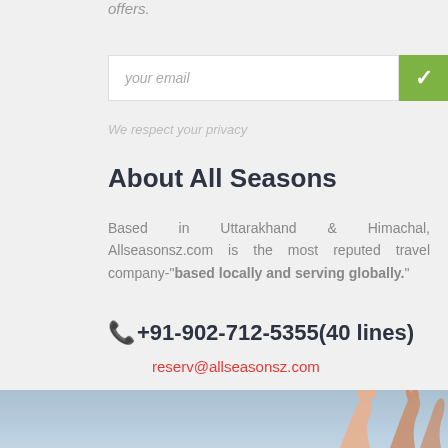offers.
your email
We respect your privacy
About All Seasons
Based in Uttarakhand & Himachal, Allseasonsz.com is the most reputed travel company-"based locally and serving globally."
📞+91-902-712-5355(40 lines)
reserv@allseasonsz.com
[Figure (other): Social media icon buttons: Twitter (t), Google+ (g+), Facebook (f), LinkedIn (in), Flickr (..)]
[Figure (photo): People raising hands in the air, light blue sky background, bottom of page]